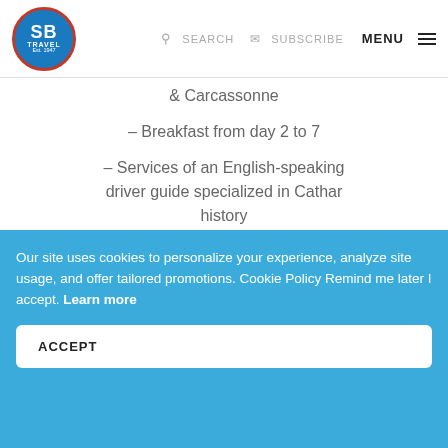SB TRAVEL Est. 1947 | SEARCH | SUBSCRIBE | MENU
& Carcassonne
– Breakfast from day 2 to 7
– Services of an English-speaking driver guide specialized in Cathar history
– Private guided walking tour of Toulouse, Albi and Carcassonne
– Visit of Cordes, Lavaur, Mirepoix,
Our site uses cookies to personalize your experience, analyze site usage, and offer tailored promotions. Cookie Policy Remind me later I accept. Learn more
ACCEPT